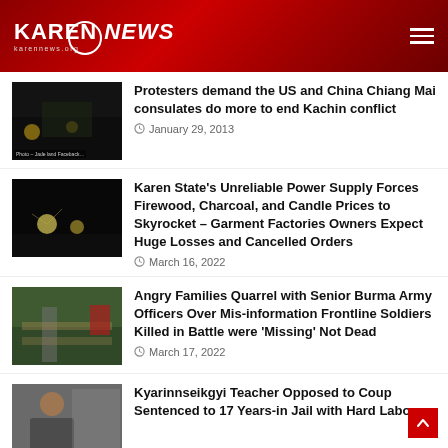KAREN NEWS
Protesters demand the US and China Chiang Mai consulates do more to end Kachin conflict — January 29, 2013
Karen State's Unreliable Power Supply Forces Firewood, Charcoal, and Candle Prices to Skyrocket – Garment Factories Owners Expect Huge Losses and Cancelled Orders — March 16, 2022
Angry Families Quarrel with Senior Burma Army Officers Over Mis-information Frontline Soldiers Killed in Battle were 'Missing' Not Dead — March 17, 2022
Kyarinnseikgyi Teacher Opposed to Coup Sentenced to 17 Years-in Jail with Hard Labor